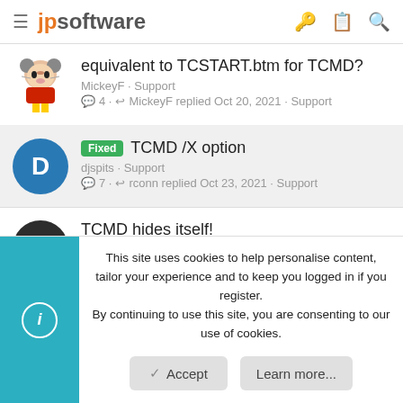jpsoftware
equivalent to TCSTART.btm for TCMD?
MickeyF · Support
4 · MickeyF replied Oct 20, 2021 · Support
Fixed TCMD /X option
djspits · Support
7 · rconn replied Oct 23, 2021 · Support
TCMD hides itself!
vefatica · Support
3 · vefatica replied Aug 4, 2021 · Support
This site uses cookies to help personalise content, tailor your experience and to keep you logged in if you register.
By continuing to use this site, you are consenting to our use of cookies.
Accept
Learn more...